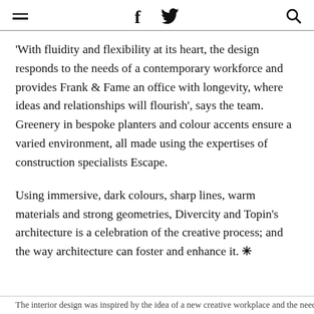≡  f  🐦  🔍
'With fluidity and flexibility at its heart, the design responds to the needs of a contemporary workforce and provides Frank & Fame an office with longevity, where ideas and relationships will flourish', says the team. Greenery in bespoke planters and colour accents ensure a varied environment, all made using the expertises of construction specialists Escape.
Using immersive, dark colours, sharp lines, warm materials and strong geometries, Divercity and Topin's architecture is a celebration of the creative process; and the way architecture can foster and enhance it. ✦
The interior design was inspired by the idea of a new creative workplace...